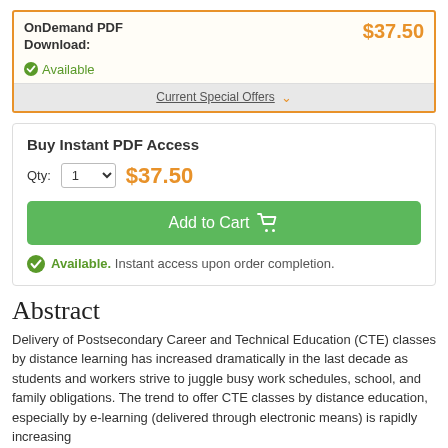OnDemand PDF Download: Available | $37.50
Current Special Offers
Buy Instant PDF Access
Qty: 1  $37.50
Add to Cart
Available. Instant access upon order completion.
Abstract
Delivery of Postsecondary Career and Technical Education (CTE) classes by distance learning has increased dramatically in the last decade as students and workers strive to juggle busy work schedules, school, and family obligations. The trend to offer CTE classes by distance education, especially by e-learning (delivered through electronic means) is rapidly increasing